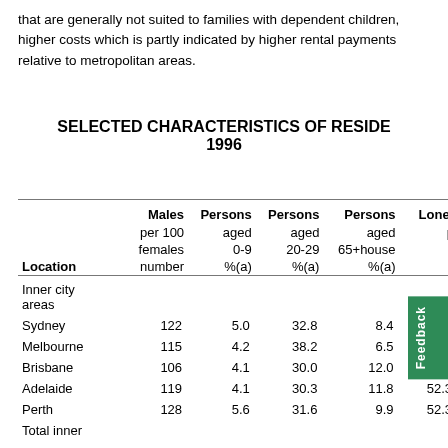that are generally not suited to families with dependent children, higher costs which is partly indicated by higher rental payments relative to metropolitan areas.
SELECTED CHARACTERISTICS OF RESIDENTS 1996
| Location | Males per 100 females number | Persons aged 0-9 %(a) | Persons aged 20-29 %(a) | Persons aged 65+ %(a) | Lone- p... |
| --- | --- | --- | --- | --- | --- |
| Inner city areas |  |  |  |  |  |
| Sydney | 122 | 5.0 | 32.8 | 8.4 | 50.3 |
| Melbourne | 115 | 4.2 | 38.2 | 6.5 | 40.7 |
| Brisbane | 106 | 4.1 | 30.0 | 12.0 | 46.5 |
| Adelaide | 119 | 4.1 | 30.3 | 11.8 | 52.3 |
| Perth | 128 | 5.6 | 31.6 | 9.9 | 52.3 |
| Total inner |  |  |  |  |  |